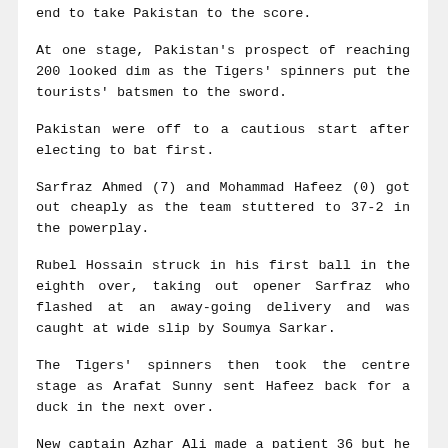end to take Pakistan to the score.
At one stage, Pakistan's prospect of reaching 200 looked dim as the Tigers' spinners put the tourists' batsmen to the sword.
Pakistan were off to a cautious start after electing to bat first.
Sarfraz Ahmed (7) and Mohammad Hafeez (0) got out cheaply as the team stuttered to 37-2 in the powerplay.
Rubel Hossain struck in his first ball in the eighth over, taking out opener Sarfraz who flashed at an away-going delivery and was caught at wide slip by Soumya Sarkar.
The Tigers' spinners then took the centre stage as Arafat Sunny sent Hafeez back for a duck in the next over.
New captain Azhar Ali made a patient 36 but he was caught behind off Shakib in the 16th over. Eight balls later, Fawad Alam went for a duck.